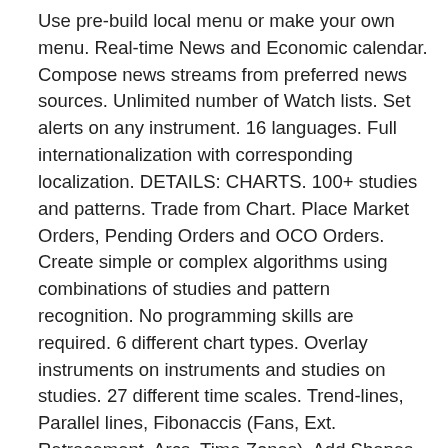Use pre-build local menu or make your own menu. Real-time News and Economic calendar. Compose news streams from preferred news sources. Unlimited number of Watch lists. Set alerts on any instrument. 16 languages. Full internationalization with corresponding localization. DETAILS: CHARTS. 100+ studies and patterns. Trade from Chart. Place Market Orders, Pending Orders and OCO Orders. Create simple or complex algorithms using combinations of studies and pattern recognition. No programming skills are required. 6 different chart types. Overlay instruments on instruments and studies on studies. 27 different time scales. Trend-lines, Parallel lines, Fibonaccis (Fans, Ext. Retracement, Arcs, Time Zones). Add Shapes and Annotations. Set alerts on studies and trend-lines and receive them as push notifications and on e-mail when triggered. The information is automatically synchronized with NetDania NetStation for desktop. Show trend-lines on higher time scales. Measurement tool. Share charts on e-mail, Facebook, Twitter and Instagram. DEMO &